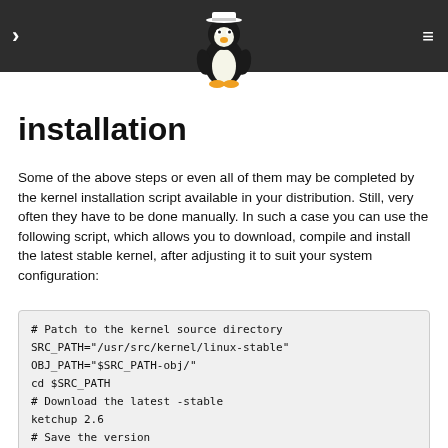> [Tux logo] ≡
installation
Some of the above steps or even all of them may be completed by the kernel installation script available in your distribution. Still, very often they have to be done manually. In such a case you can use the following script, which allows you to download, compile and install the latest stable kernel, after adjusting it to suit your system configuration:
# Patch to the kernel source directory
SRC_PATH="/usr/src/kernel/linux-stable"
OBJ_PATH="$SRC_PATH-obj/"
cd $SRC_PATH
# Download the latest -stable
ketchup 2.6
# Save the version
VER=`ketchup -m`
# Generate the configuration file (based on the old one)
make O=$OBJ_PATH oldconfig